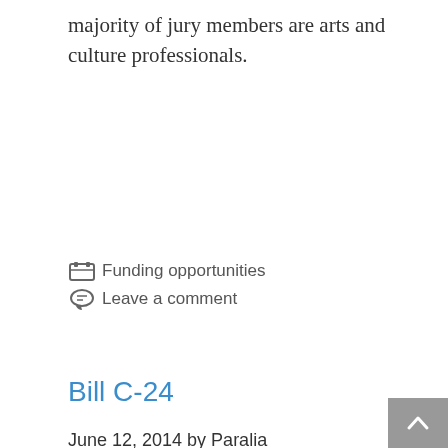majority of jury members are arts and culture professionals.
Funding opportunities
Leave a comment
Bill C-24
June 12, 2014 by Paralia
As June 12th, Bill C- 24 recived Royal Assent and is now Law.
The bylaw listed 9 eligibility requirements, 11 fraud provisions and 6 decision factors, this law